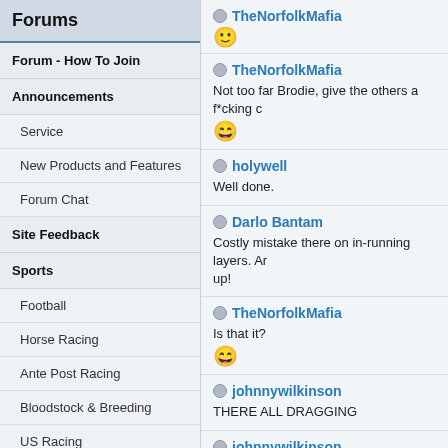Forums
Forum - How To Join
Announcements
Service
New Products and Features
Forum Chat
Site Feedback
Sports
Football
Horse Racing
Ante Post Racing
Bloodstock & Breeding
US Racing
Cheltenham Festival
Grand National...
TheNorfolkMafia
😊
TheNorfolkMafia
Not too far Brodie, give the others a f*cking c
😄
holywell
Well done.
Darlo Bantam
Costly mistake there on in-running layers. Ar up!
TheNorfolkMafia
Is that it?
😄
johnnywilkinson
THERE ALL DRAGGING
johnnywilkinson